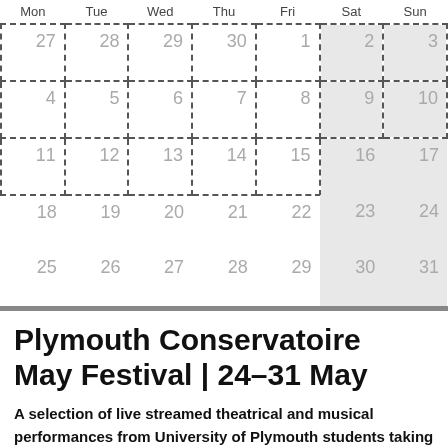| Mon | Tue | Wed | Thu | Fri | Sat | Sun |
| --- | --- | --- | --- | --- | --- | --- |
| 27 | 28 | 29 | 30 | 1 | 2 | 3 |
| 4 | 5 | 6 | 7 | 8 | 9 | 10 |
| 11 | 12 | 13 | 14 | 15 | 16 | 17 |
| 18 | 19 | 20 | 21 | 22 | 23 | 24 |
| 25 | 26 | 27 | 28 | 29 | 30 | 31 |
Plymouth Conservatoire May Festival | 24–31 May
A selection of live streamed theatrical and musical performances from University of Plymouth students taking place at The House and